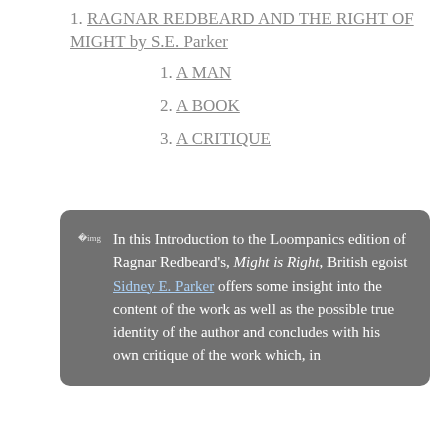RAGNAR REDBEARD AND THE RIGHT OF MIGHT by S.E. Parker
A MAN
A BOOK
A CRITIQUE
In this Introduction to the Loompanics edition of Ragnar Redbeard's, Might is Right, British egoist Sidney E. Parker offers some insight into the content of the work as well as the possible true identity of the author and concludes with his own critique of the work which, in